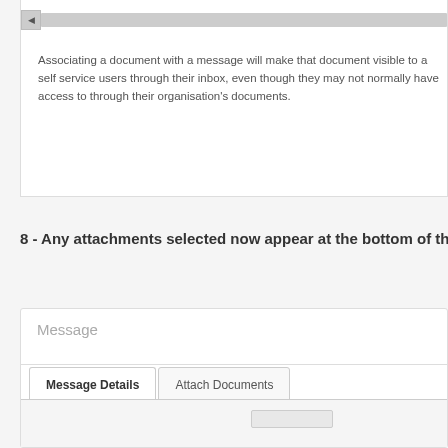[Figure (screenshot): Screenshot of a document management UI panel showing a horizontal scrollbar at the top and informational text about associating documents with messages.]
Associating a document with a message will make that document visible to a self service users through their inbox, even though they may not normally have access to through their organisation's documents.
8 - Any attachments selected now appear at the bottom of the messa
[Figure (screenshot): Screenshot of a message composition UI showing a Message panel with 'Message Details' and 'Attach Documents' tabs.]